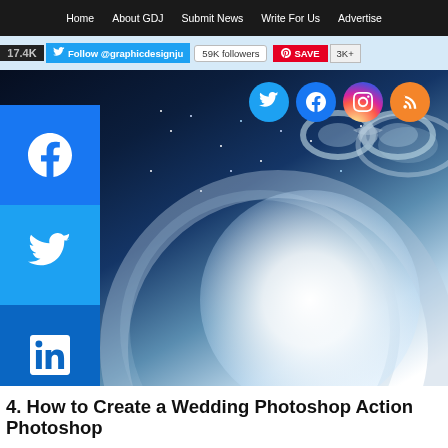Home | About GDJ | Submit News | Write For Us | Advertise
[Figure (screenshot): Website header with Twitter follow bar showing @graphicdesignju, 59K followers, Pinterest SAVE button with 3K+, and a hero image of a wedding ring in a dark blue sparkly background with social media icons (Twitter, Facebook, Instagram, RSS). Social sharing sidebar with Facebook, Twitter, LinkedIn, Pinterest buttons and a + button. A red Pinterest expanded bar with 'rial Link' text visible.]
4. How to Create a Wedding Photoshop Action Photoshop